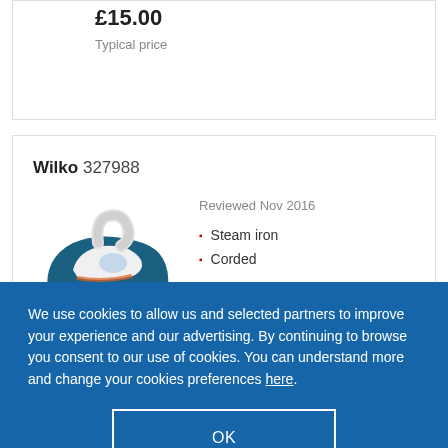£15.00
Typical price
Wilko 327988
[Figure (photo): Photo of a white and teal/blue steam iron]
Reviewed Nov 2016
Steam iron
Corded
We use cookies to allow us and selected partners to improve your experience and our advertising. By continuing to browse you consent to our use of cookies. You can understand more and change your cookies preferences here.
OK